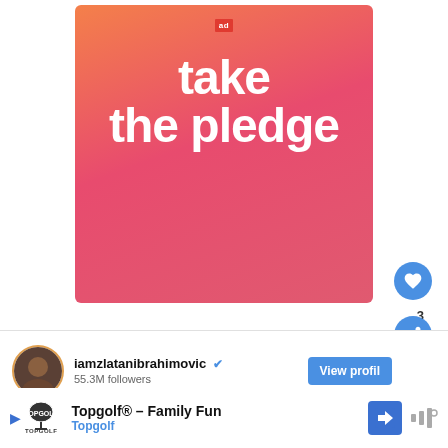[Figure (infographic): Orange-to-pink gradient square card with 'ad' logo at top center and large white text reading 'take the pledge']
[Figure (infographic): Instagram-style profile card showing iamzlatanibrahimovic with verified badge, 55.3M followers, and a 'View profile' button in blue]
[Figure (infographic): Bottom advertisement bar for Topgolf® - Family Fun with Topgolf logo and navigation arrow]